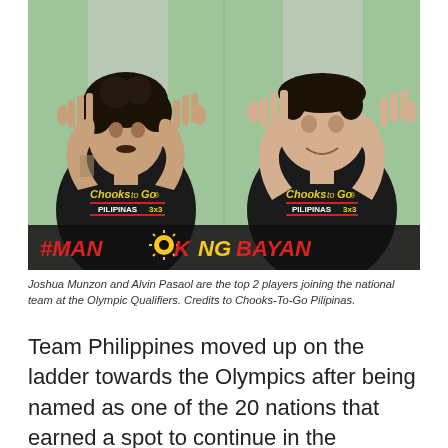[Figure (photo): Two men wearing black 'Chooks to Go PILIPINAS 3x3' t-shirts, both holding up three fingers with each hand. A '#MANOK NG BAYAN' logo with a sun graphic appears at the bottom of the image. The background shows a green-walled hallway.]
Joshua Munzon and Alvin Pasaol are the top 2 players joining the national team at the Olympic Qualifiers. Credits to Chooks-To-Go Pilipinas.
Team Philippines moved up on the ladder towards the Olympics after being named as one of the 20 nations that earned a spot to continue in the Fédération Internationale de Basketball (FIBA) 3×3 Men's Basketball Olympic Qualifying